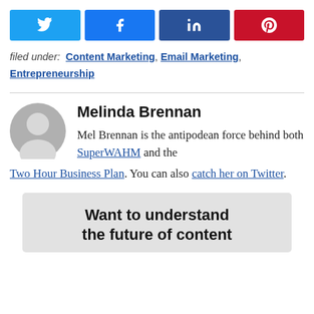[Figure (infographic): Social share buttons: Twitter (light blue), Facebook (blue), LinkedIn (dark blue), Pinterest (red), each with respective icons]
filed under: Content Marketing, Email Marketing, Entrepreneurship
Melinda Brennan
Mel Brennan is the antipodean force behind both SuperWAHM and the Two Hour Business Plan. You can also catch her on Twitter.
Want to understand the future of content